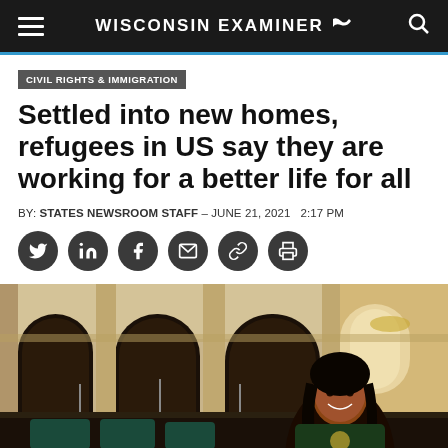WISCONSIN EXAMINER
CIVIL RIGHTS & IMMIGRATION
Settled into new homes, refugees in US say they are working for a better life for all
BY: STATES NEWSROOM STAFF – JUNE 21, 2021  2:17 PM
[Figure (other): Social media sharing icons: Twitter, LinkedIn, Facebook, Email, Link, Print]
[Figure (photo): A Black woman smiling, seated inside an ornate legislative chamber with arched columns and wooden desks, likely a state capitol building.]